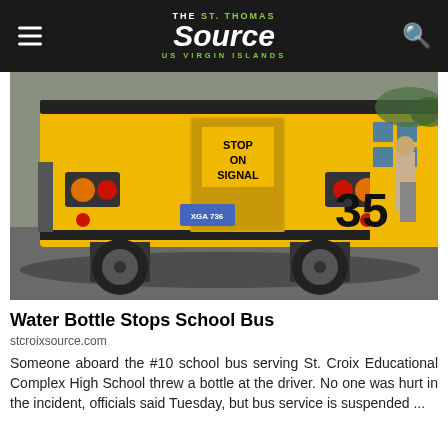The St. Thomas Source - US Virgin Islands
[Figure (photo): Rear view of a yellow school bus numbered 35 with 'STOP ON SIGNAL' text on the back door, parked on a street with another school bus visible alongside it and people in the background]
Water Bottle Stops School Bus
stcroixsource.com
Someone aboard the #10 school bus serving St. Croix Educational Complex High School threw a bottle at the driver. No one was hurt in the incident, officials said Tuesday, but bus service is suspended ...